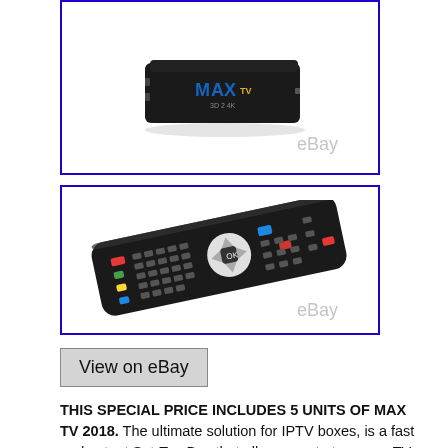[Figure (photo): Photo of a black MAX TV set-top box with blue and yellow logo, displayed on eBay with watermark]
[Figure (photo): Photo of a black TV remote control with colored buttons, displayed on eBay with watermark]
View on eBay
THIS SPECIAL PRICE INCLUDES 5 UNITS OF MAX TV 2018. The ultimate solution for IPTV boxes, is a fast and potent Set-Top Box that allows you to turn your TV into a Powerful and Efficient Smart TV e-mails and social networks, e-learning, search